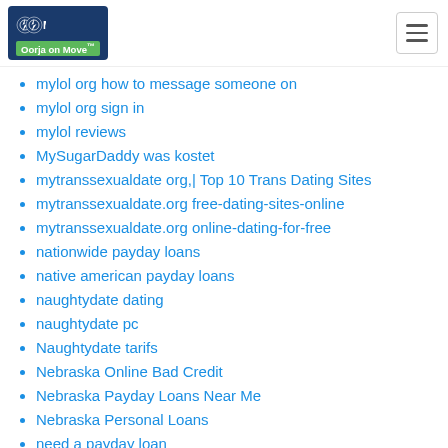Oorja on Move logo and hamburger menu
mylol org how to message someone on
mylol org sign in
mylol reviews
MySugarDaddy was kostet
mytranssexualdate org,| Top 10 Trans Dating Sites
mytranssexualdate.org free-dating-sites-online
mytranssexualdate.org online-dating-for-free
nationwide payday loans
native american payday loans
naughtydate dating
naughtydate pc
Naughtydate tarifs
Nebraska Online Bad Credit
Nebraska Payday Loans Near Me
Nebraska Personal Loans
need a payday loan